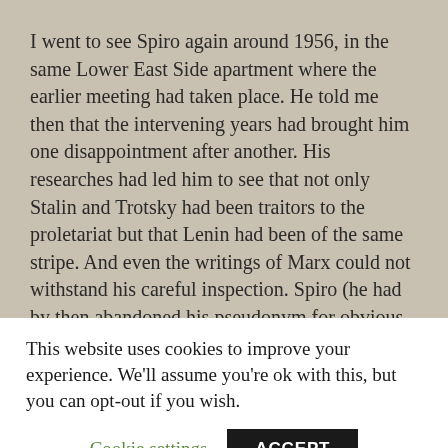I went to see Spiro again around 1956, in the same Lower East Side apartment where the earlier meeting had taken place. He told me then that the intervening years had brought him one disappointment after another. His researches had led him to see that not only Stalin and Trotsky had been traitors to the proletariat but that Lenin had been of the same stripe. And even the writings of Marx could not withstand his careful inspection. Spiro (he had by then abandoned his pseudonym for obvious reasons) discovered that yes, old Karl Marx himself had really been nothing but an anti-Semite in disguise. When I asked him about the other Marlenites whom I had met some fifteen years…
This website uses cookies to improve your experience. We'll assume you're ok with this, but you can opt-out if you wish.